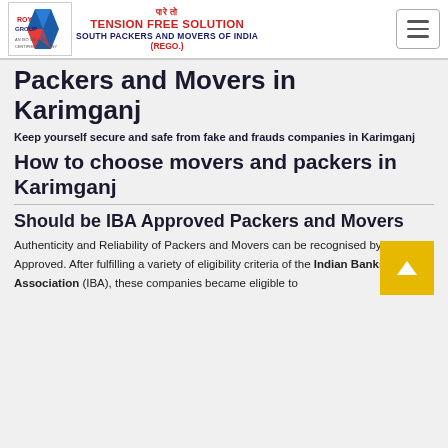Roy Group — Tension Free Solution — South Packers and Movers of India (Rego.)
Packers and Movers in Karimganj
Keep yourself secure and safe from fake and frauds companies in Karimganj
How to choose movers and packers in Karimganj
Should be IBA Approved Packers and Movers
Authenticity and Reliability of Packers and Movers can be recognised by if it is IBA Approved. After fulfilling a variety of eligibility criteria of the Indian Banks' Association (IBA), these companies became eligible to